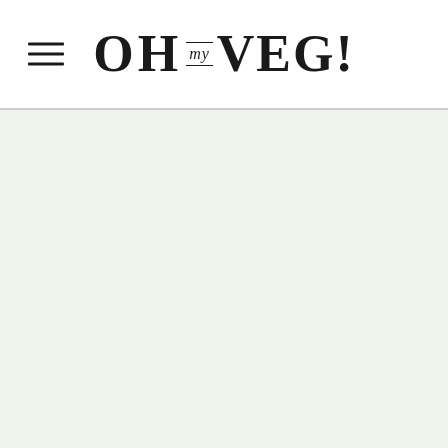OH my VEG!
[Figure (other): Large empty content area with light green/cream background below the header]